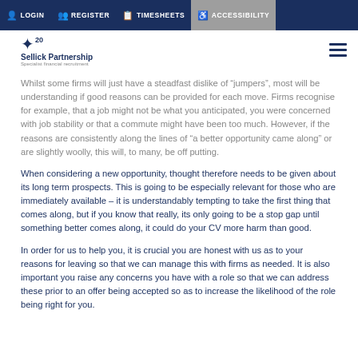LOGIN | REGISTER | TIMESHEETS | ACCESSIBILITY
Whilst some firms will just have a steadfast dislike of “jumpers”, most will be understanding if good reasons can be provided for each move. Firms recognise for example, that a job might not be what you anticipated, you were concerned with job stability or that a commute might have been too much. However, if the reasons are consistently along the lines of “a better opportunity came along” or are slightly woolly, this will, to many, be off putting.
When considering a new opportunity, thought therefore needs to be given about its long term prospects. This is going to be especially relevant for those who are immediately available – it is understandably tempting to take the first thing that comes along, but if you know that really, its only going to be a stop gap until something better comes along, it could do your CV more harm than good.
In order for us to help you, it is crucial you are honest with us as to your reasons for leaving so that we can manage this with firms as needed. It is also important you raise any concerns you have with a role so that we can address these prior to an offer being accepted so as to increase the likelihood of the role being right for you.